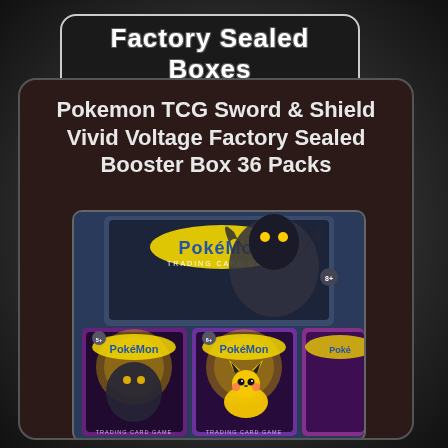Factory Sealed Boxes
Pokemon TCG Sword & Shield Vivid Voltage Factory Sealed Booster Box 36 Packs
[Figure (photo): Pokemon TCG Sword & Shield Vivid Voltage Factory Sealed Booster Box product photo showing multiple booster box packages featuring Pokemon characters including Pikachu and Grimmsnarl]